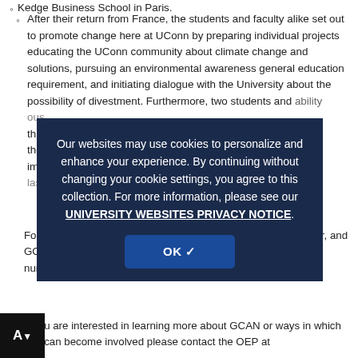After their return from France, the students and faculty alike set out to promote change here at UConn by preparing individual projects educating the UConn community about climate change and solutions, pursuing an environmental awareness general education requirement, and initiating dialogue with the University about the possibility of divestment. Furthermore, two students and [sustainability] [campus] [this year] at the UConn [show/promote] these implications of [...] the measures that [...] lasting
Following the increase in faculty engagement over the past year, and GCAN's successful role in fostering it, OEP looks forward to numerous [...] opportunities on the horizon.
If you are interested in learning more about GCAN or ways in which you can become involved please contact the OEP at
[Figure (other): Cookie consent overlay on a dark navy background reading: 'Our websites may use cookies to personalize and enhance your experience. By continuing without changing your cookie settings, you agree to this collection. For more information, please see our UNIVERSITY WEBSITES PRIVACY NOTICE.' with an OK button below.]